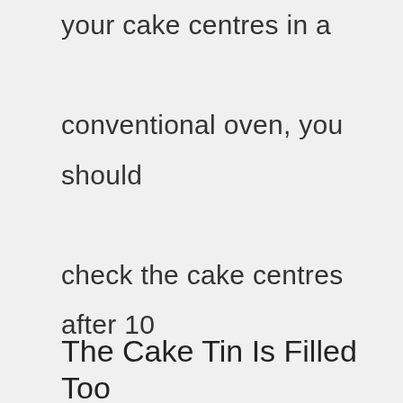your cake centres in a conventional oven, you should check the cake centres after 10 minutes. If the cake centres are not ready, then you should continue baking them until they are done.
The Cake Tin Is Filled Too Deep